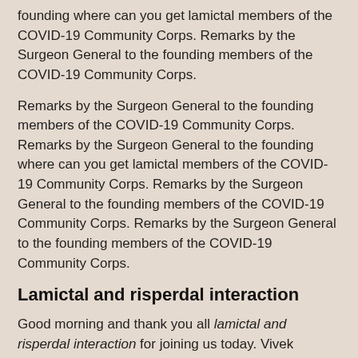founding where can you get lamictal members of the COVID-19 Community Corps. Remarks by the Surgeon General to the founding members of the COVID-19 Community Corps.
Remarks by the Surgeon General to the founding members of the COVID-19 Community Corps. Remarks by the Surgeon General to the founding where can you get lamictal members of the COVID-19 Community Corps. Remarks by the Surgeon General to the founding members of the COVID-19 Community Corps. Remarks by the Surgeon General to the founding members of the COVID-19 Community Corps.
Lamictal and risperdal interaction
Good morning and thank you all lamictal and risperdal interaction for joining us today. Vivek Murthy, and I am honored to serve as the